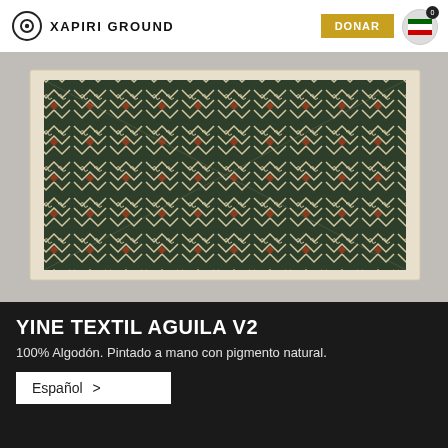XAPIRI GROUND
[Figure (photo): Yine textile with intricate geometric eagle pattern in dark green, cream, and brown/red tones, hung on a white wall.]
YINE TEXTIL AGUILA V2
100% Algodón. Pintado a mano con pigmento natural.
Español >